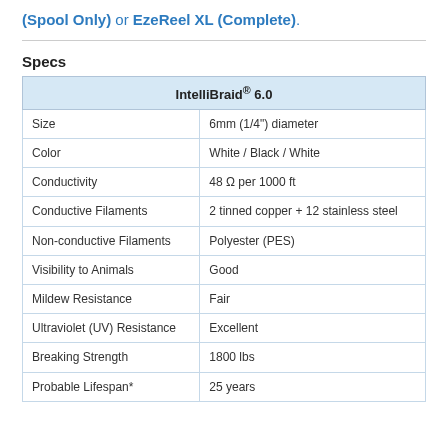(Spool Only) or EzeReel XL (Complete).
Specs
| IntelliBraid® 6.0 |
| --- |
| Size | 6mm (1/4") diameter |
| Color | White / Black / White |
| Conductivity | 48 Ω per 1000 ft |
| Conductive Filaments | 2 tinned copper + 12 stainless steel |
| Non-conductive Filaments | Polyester (PES) |
| Visibility to Animals | Good |
| Mildew Resistance | Fair |
| Ultraviolet (UV) Resistance | Excellent |
| Breaking Strength | 1800 lbs |
| Probable Lifespan* | 25 years |